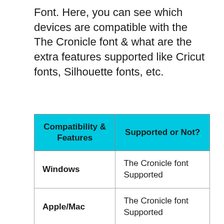Font. Here, you can see which devices are compatible with the The Cronicle font & what are the extra features supported like Cricut fonts, Silhouette fonts, etc.
| Compatibility & Features | Supported or Not? |
| --- | --- |
| Windows | The Cronicle font Supported |
| Apple/Mac | The Cronicle font Supported |
| Linux | The Cronicle font Supported |
|  | The Cronicle font |